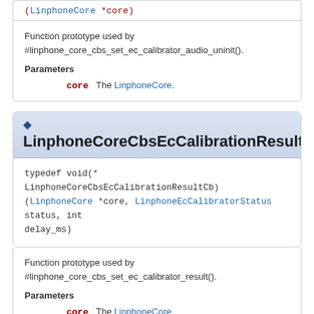(LinphoneCore *core)
Function prototype used by #linphone_core_cbs_set_ec_calibrator_audio_uninit().
Parameters
core The LinphoneCore.
LinphoneCoreCbsEcCalibrationResultCb
typedef void(* LinphoneCoreCbsEcCalibrationResultCb)(LinphoneCore *core, LinphoneEcCalibratorStatus status, int delay_ms)
Function prototype used by #linphone_core_cbs_set_ec_calibrator_result().
Parameters
core The LinphoneCore.